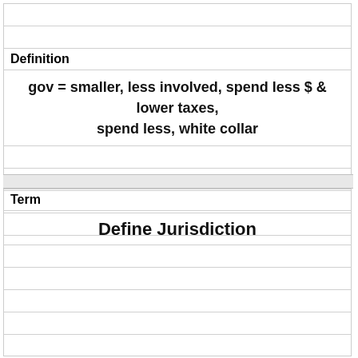Definition
gov = smaller, less involved, spend less $ & lower taxes, spend less, white collar
Term
Define Jurisdiction